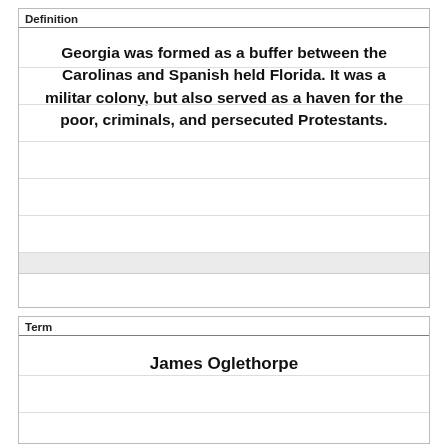Definition
Georgia was formed as a buffer between the Carolinas and Spanish held Florida. It was a militar colony, but also served as a haven for the poor, criminals, and persecuted Protestants.
Term
James Oglethorpe